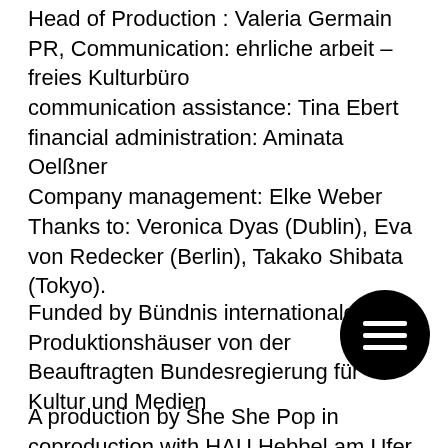Head of Production : Valeria Germain
PR, Communication: ehrliche arbeit – freies Kulturbüro
communication assistance: Tina Ebert
financial administration: Aminata Oelßner
Company management: Elke Weber
Thanks to: Veronica Dyas (Dublin), Eva von Redecker (Berlin), Takako Shibata (Tokyo).
Funded by Bündnis internationaler Produktionshäuser von der Beauftragten Bundesregierung für Kultur und Medien
A production by She She Pop in coproduction with HAU Hebbel am Ufer, Berlin, f...